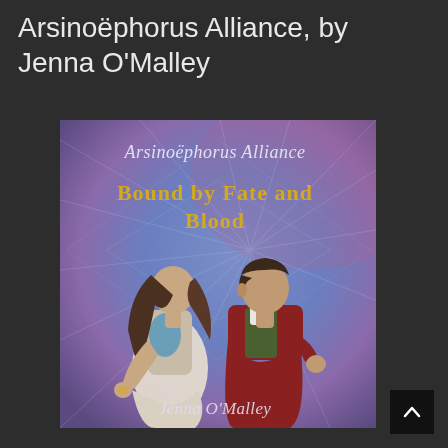Arsinoëphorus Alliance, by Jenna O'Malley
[Figure (illustration): Book cover for 'Arsinoëphorus Alliance: Bound by Fate and Blood' by Jenna O'Malley. Purple-blue gradient background with radiating light beams. Top text in cursive script reads 'Arsinoëphorus Alliance'. Below in ornate gold medieval font: 'Bound by Fate and Blood'. Two figures stand back-to-back: a young woman in white flowing garments with long dark hair leaning forward, and a young man in a dark red/maroon coat with short dark hair looking sideways. Bottom text in cursive script reads 'Jenna O'Malley'.]